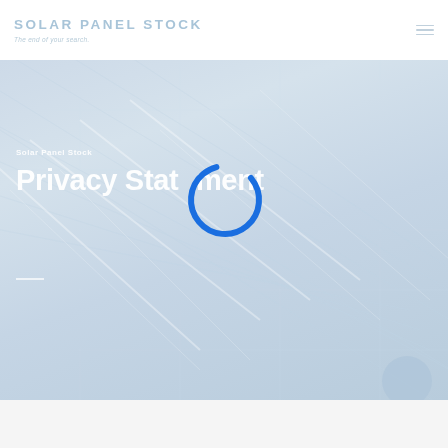SOLAR PANEL STOCK
The end of your search.
Solar Panel Stock
Privacy Statement
[Figure (illustration): Blue loading spinner / circular progress indicator overlaid on the privacy statement title text]